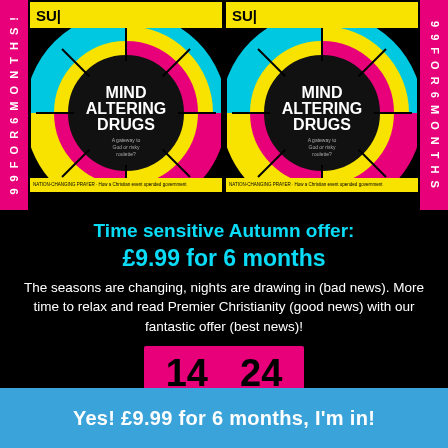[Figure (illustration): Two magazine covers side by side showing 'Mind Altering Drugs' issue of Premier Christianity / SU magazine with a colorful roulette wheel design in pink, yellow, blue and black with text 'A gateway to God or risky roulette?'. Pink vertical banners on each side read '9.99 FOR 6 MONTHS!']
Time sensitive Autumn offer:
£9.99 for 6 months
The seasons are changing, nights are drawing in (bad news). More time to relax and read Premier Christianity (good news) with our fantastic offer (best news)!
[Figure (infographic): Countdown timer showing 14 Minutes and 24 Seconds on a pink/magenta background]
Yes! £9.99 for 6 months, I'm in!